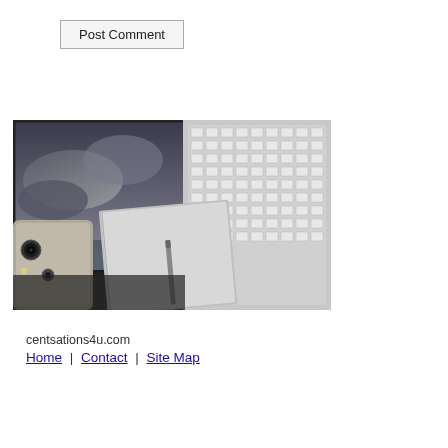Post Comment
[Figure (photo): Overhead view of tech devices on a dark surface: tablet showing stormy sky wallpaper, white laptop keyboard, silver notebook/journal with pen, and smartphone with dual camera.]
centsations4u.com
Home | Contact | Site Map